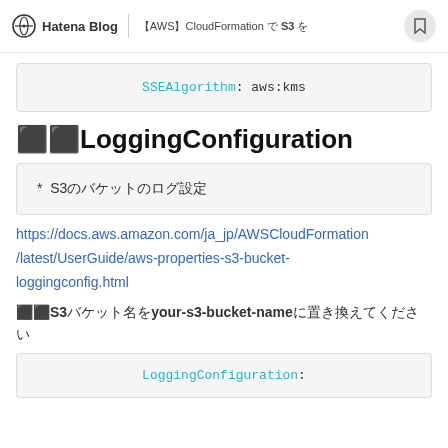Hatena Blog | 【AWS】CloudFormation で S3 を
SSEAlgorithm: aws:kms
LoggingConfiguration
* S3バケットのログ設定
https://docs.aws.amazon.com/ja_jp/AWSCloudFormation/latest/UserGuide/aws-properties-s3-bucket-loggingconfig.html
S3バケット名をyour-s3-bucket-nameに置き換えてください
LoggingConfiguration: